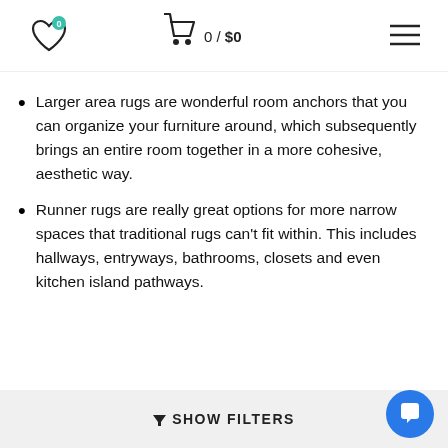Wishlist (0) | Cart 0 / $0 | Menu
Larger area rugs are wonderful room anchors that you can organize your furniture around, which subsequently brings an entire room together in a more cohesive, aesthetic way.
Runner rugs are really great options for more narrow spaces that traditional rugs can't fit within. This includes hallways, entryways, bathrooms, closets and even kitchen island pathways.
▼ SHOW FILTERS